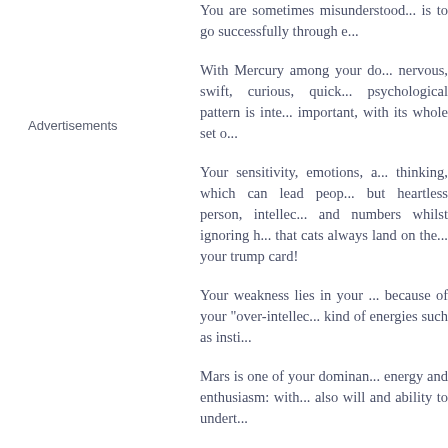You are sometimes misunderstood... is to go successfully through e...
Advertisements
With Mercury among your do... nervous, swift, curious, quick... psychological pattern is inte... important, with its whole set o...
Your sensitivity, emotions, a... thinking, which can lead peop... but heartless person, intellec... and numbers whilst ignoring h... that cats always land on the... your trump card!
Your weakness lies in your ... because of your "over-intellec... kind of energies such as insti...
Mars is one of your dominan... energy and enthusiasm: with... also will and ability to undert...